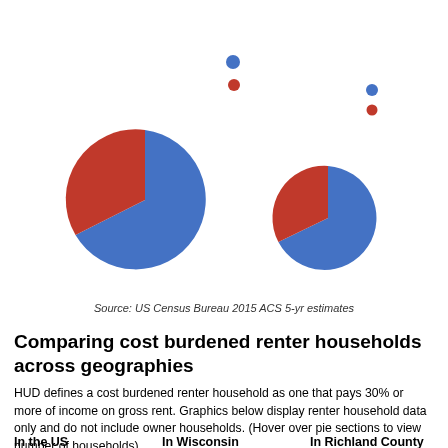[Figure (pie-chart): Three pie charts showing cost burdened renter households: In the US (large), In Wisconsin (medium), In Richland County (medium). Each has a blue majority slice and red minority slice, with two dot legends above.]
Source: US Census Bureau 2015 ACS 5-yr estimates
Comparing cost burdened renter households across geographies
HUD defines a cost burdened renter household as one that pays 30% or more of income on gross rent. Graphics below display renter household data only and do not include owner households. (Hover over pie sections to view number of households)
In the US    In Wisconsin    In Richland County